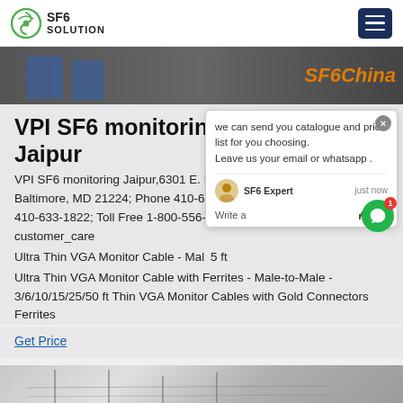SF6 SOLUTION
[Figure (screenshot): Banner photo showing workers in blue uniforms with SF6China text overlay in orange]
VPI SF6 monitoring Jaipur
VPI SF6 monitoring Jaipur,6301 E. [street], Baltimore, MD 21224; Phone 410-6[xx]; 410-633-1822; Toll Free 1-800-556-[xx]; customer_care Ultra Thin VGA Monitor Cable - Male-[to-Male] 5 ft Ultra Thin VGA Monitor Cable with Ferrites - Male-to-Male - 3/6/10/15/25/50 ft Thin VGA Monitor Cables with Gold Connectors Ferrites
Get Price
[Figure (screenshot): Chat popup dialog with SF6 Expert offering to send catalogue and price list, with avatar and write message field]
[Figure (photo): Bottom banner showing electrical/industrial equipment]